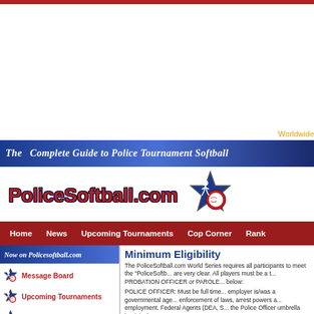[Figure (screenshot): PoliceSoftball.com website screenshot showing header with blue banner 'The Complete Guide to Police Tournament Softball', logo, navigation bar, sidebar with links, and main content about Minimum Eligibility]
Worldwide
The Complete Guide to Police Tournament Softball
PoliceSoftball.com
Home   News   Upcoming Tournaments   Cop Corner   Rank
Now on Policesoftball.com
Message Board
Upcoming Tournaments
Player Eligibility
Minimum Eligibility
The PoliceSoftball.com World Series requires all participants to meet the "PoliceSoftball... are very clear. All players must be a ... PROBATION OFFICER or PAROLE ... below:
POLICE OFFICER: Must be full time ... employer is/was a governmental age... enforcement of laws, arrest powers a... employment. Federal Agents (DEA, S... the Police Officer umbrella but it is th...